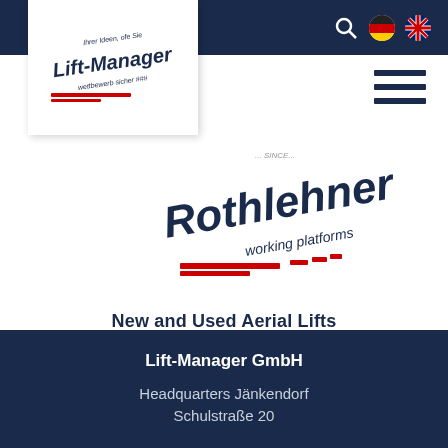[Figure (logo): Lift-Manager GmbH logo in white card box]
[Figure (logo): Rothlehner working platforms logo]
New and Used Aerial Lifts
Lift-Manager GmbH
Headquarters Jänkendorf
Schulstraße 20